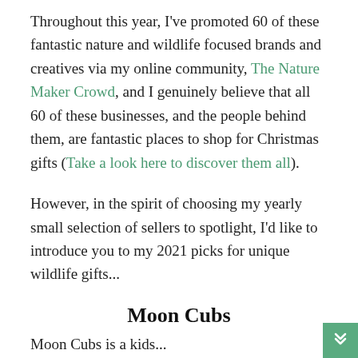Throughout this year, I've promoted 60 of these fantastic nature and wildlife focused brands and creatives via my online community, The Nature Maker Crowd, and I genuinely believe that all 60 of these businesses, and the people behind them, are fantastic places to shop for Christmas gifts (Take a look here to discover them all).
However, in the spirit of choosing my yearly small selection of sellers to spotlight, I'd like to introduce you to my 2021 picks for unique wildlife gifts...
Moon Cubs
Moon Cubs is a kids...